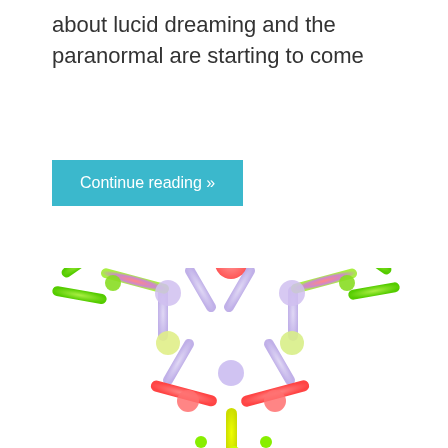about lucid dreaming and the paranormal are starting to come
Continue reading »
[Figure (illustration): 3D molecular structure rendering showing a benzene-like ring with colored substituents: red oxygen-like groups at top and bottom sides, yellow-green sulfur-like groups at left and right corners with green terminal atoms extending outward, and a central lavender/purple hexagonal ring structure. The molecule is cropped at the bottom.]